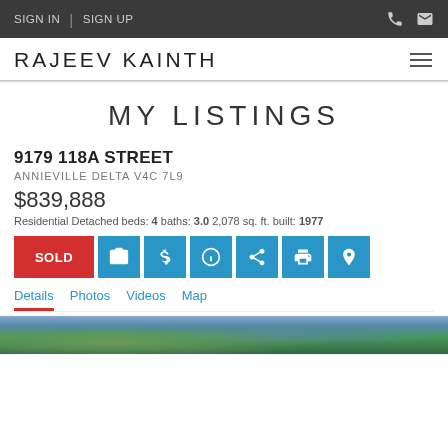SIGN IN | SIGN UP
RAJEEV KAINTH
MY LISTINGS
9179 118A STREET
ANNIEVILLE DELTA V4C 7L9
$839,888
Residential Detached beds: 4 baths: 3.0 2,078 sq. ft. built: 1977
SOLD
Details Photos Videos Map
[Figure (photo): Exterior photo of the property at 9179 118A Street showing trees and landscape]